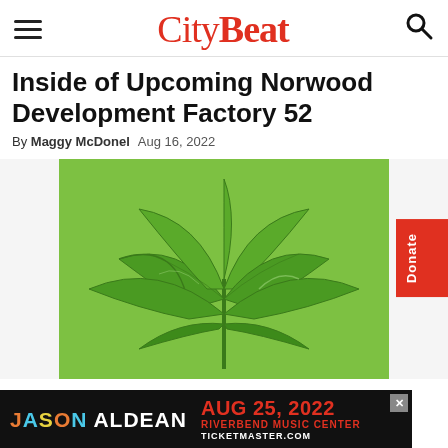CityBeat
Inside of Upcoming Norwood Development Factory 52
By Maggy McDonel   Aug 16, 2022
[Figure (photo): Close-up photo of cannabis/marijuana leaves against a bright green background]
[Figure (infographic): Advertisement banner: JASON ALDEAN AUG 25, 2022 RIVERBEND MUSIC CENTER TICKETMASTER.COM]